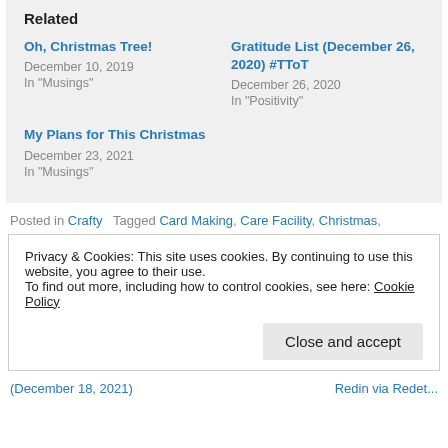Related
Oh, Christmas Tree!
December 10, 2019
In "Musings"
Gratitude List (December 26, 2020) #TToT
December 26, 2020
In "Positivity"
My Plans for This Christmas
December 23, 2021
In "Musings"
Posted in Crafty   Tagged Card Making, Care Facility, Christmas,
Privacy & Cookies: This site uses cookies. By continuing to use this website, you agree to their use.
To find out more, including how to control cookies, see here: Cookie Policy
Close and accept
(December 18, 2021)